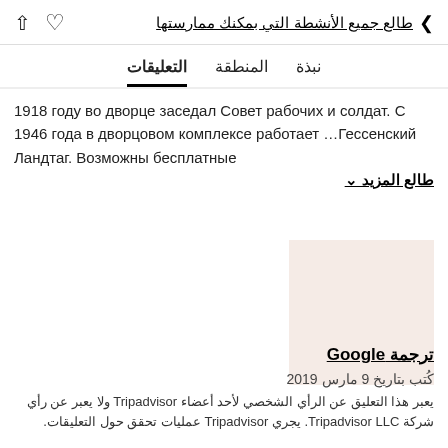طالع جميع الأنشطة التي بمكنك ممارستها
نبذة   المنطقة   التعليقات
1918 году во дворце заседал Совет рабочих и солдат. С 1946 года в дворцовом комплексе работает Гессенский Ландтаг. Возможны бесплатные…
طالع المزيد ∨
[Figure (photo): Light pinkish-beige placeholder image rectangle]
ترجمة Google
كُتب بتاريخ 9 مارس 2019
يعبر هذا التعليق عن الرأي الشخصي لأحد أعضاء Tripadvisor ولا يعبر عن رأي شركة Tripadvisor LLC. يجري Tripadvisor عمليات تحقق حول التعليقات.